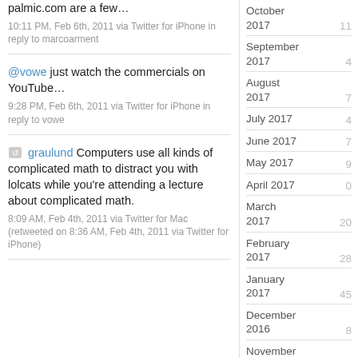palmic.com are a few...
10:11 PM, Feb 6th, 2011 via Twitter for iPhone in reply to marcoarment
@vowe just watch the commercials on YouTube…
9:28 PM, Feb 6th, 2011 via Twitter for iPhone in reply to vowe
[retweet icon] graulund Computers use all kinds of complicated math to distract you with lolcats while you're attending a lecture about complicated math.
8:09 AM, Feb 4th, 2011 via Twitter for Mac (retweeted on 8:36 AM, Feb 4th, 2011 via Twitter for iPhone)
October 2017  11
September 2017  4
August 2017  7
July 2017  4
June 2017  7
May 2017  9
April 2017  0
March 2017  20
February 2017  28
January 2017  45
December 2016  8
November 2016  45
October